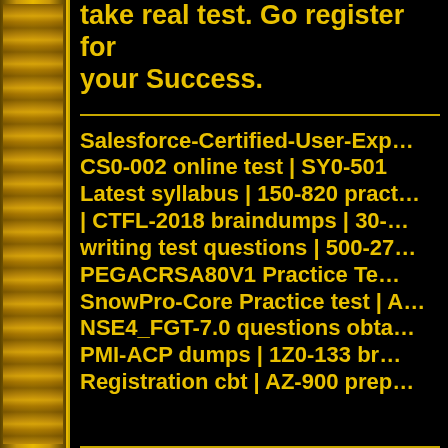take real test. Go register for your Success.
Salesforce-Certified-User-Exp… CS0-002 online test | SY0-501 Latest syllabus | 150-820 pract… | CTFL-2018 braindumps | 30-… writing test questions | 500-27… PEGACRSA80V1 Practice Te… SnowPro-Core Practice test | A… NSE4_FGT-7.0 questions obta… PMI-ACP dumps | 1Z0-133 br… Registration cbt | AZ-900 prep…